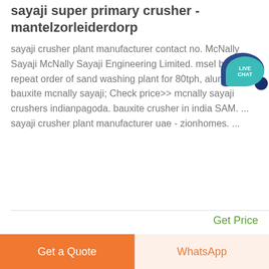sayaji super primary crusher - mantelzorleiderdorp
sayaji crusher plant manufacturer contact no. McNally Sayaji McNally Sayaji Engineering Limited. msel baggged repeat order of sand washing plant for 80tph, aluminium bauxite mcnally sayaji; Check price>> mcnally sayaji crushers indianpagoda. bauxite crusher in india SAM. ... sayaji crusher plant manufacturer uae - zionhomes. ...
Get Price
[Figure (photo): Outdoor photo showing mountains/hills in the background with a light sky, and some construction or industrial equipment visible at the bottom left edge.]
Get a Quote
WhatsApp